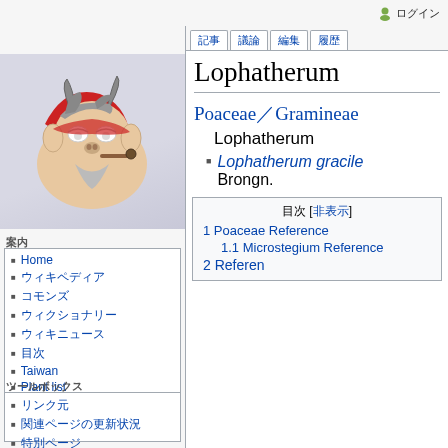ログイン
[Figure (illustration): Cartoon goat mascot with horns, wearing a red hat/bandana, smoking a pipe — Wikipedia/MediaWiki mascot logo]
案内
Home
ウィキペディア
コモンズ
ウィクショナリー
ウィキニュース
目次
Taiwan
Plant list
植物検索
ツールボックス
リンク元
関連ページの更新状況
特別ページ
Lophatherum
Poaceae／Gramineae
Lophatherum
Lophatherum gracile Brongn.
| 目次 [非表示] |
| --- |
| 1 Poaceae Reference |
| 1.1 Microstegium Reference |
| 2 Reference |
2 Reference